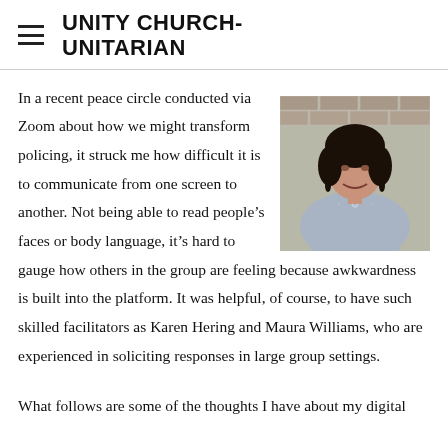UNITY CHURCH-UNITARIAN
[Figure (photo): Portrait photo of a woman with dark curly hair wearing dangling earrings and a light blue/grey top, standing in front of a brick wall]
In a recent peace circle conducted via Zoom about how we might transform policing, it struck me how difficult it is to communicate from one screen to another. Not being able to read people’s faces or body language, it’s hard to gauge how others in the group are feeling because awkwardness is built into the platform. It was helpful, of course, to have such skilled facilitators as Karen Hering and Maura Williams, who are experienced in soliciting responses in large group settings.
What follows are some of the thoughts I have about my digital